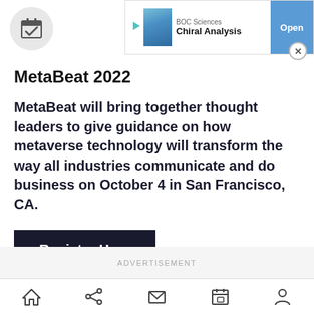[Figure (screenshot): BOC Sciences Chiral Analysis advertisement banner with blue vial image, play icon, and Open button]
[Figure (illustration): Calendar icon with checkmark in circular grey button, top left]
MetaBeat 2022
MetaBeat will bring together thought leaders to give guidance on how metaverse technology will transform the way all industries communicate and do business on October 4 in San Francisco, CA.
[Figure (illustration): Register Here button - dark navy rectangle with white bold text]
ADVERTISEMENT
[Figure (illustration): Bottom navigation bar with home, share, mail, calendar, and profile icons]